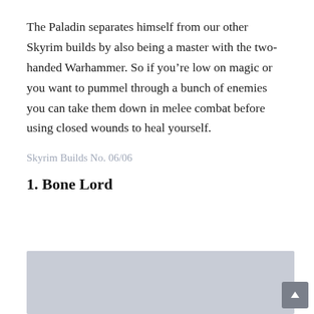The Paladin separates himself from our other Skyrim builds by also being a master with the two-handed Warhammer. So if you're low on magic or you want to pummel through a bunch of enemies you can take them down in melee combat before using closed wounds to heal yourself.
Skyrim Builds No. 06/06
1. Bone Lord
[Figure (photo): Large grey placeholder image block for Bone Lord section]